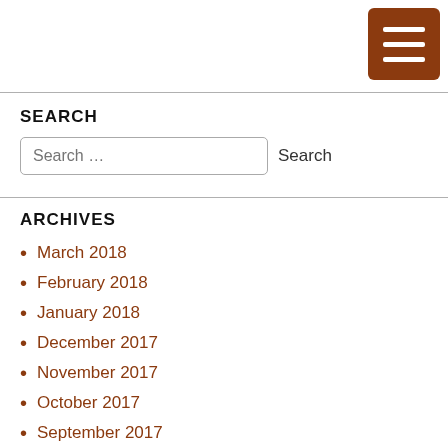[Figure (other): Brown hamburger menu button with three white horizontal lines, top-right corner]
SEARCH
Search ... [input field] Search
ARCHIVES
March 2018
February 2018
January 2018
December 2017
November 2017
October 2017
September 2017
July 2017
June 2017